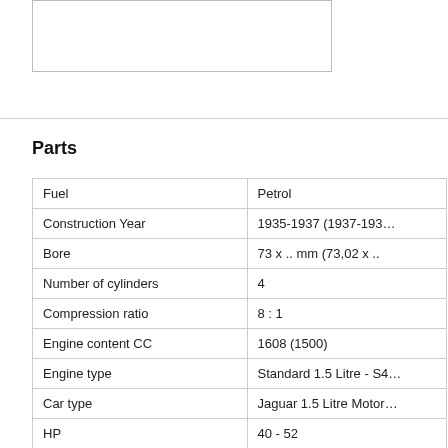[Figure (photo): Blank/empty image box in upper left area of page]
Parts
| Property | Value |
| --- | --- |
| Fuel | Petrol |
| Construction Year | 1935-1937 (1937-193… |
| Bore | 73 x .. mm (73,02 x .. |
| Number of cylinders | 4 |
| Compression ratio | 8 : 1 |
| Engine content CC | 1608 (1500) |
| Engine type | Standard 1.5 Litre - S4… |
| Car type | Jaguar 1.5 Litre Motor… |
| HP | 40 - 52 |
| Cylinder Liner | 0   MKL op aanvraag - 73… |
| Piston | 0   MKP 05-11309-0 - 73,… |
| Piston | 0   MKP 05-11309-0 - 73,… |